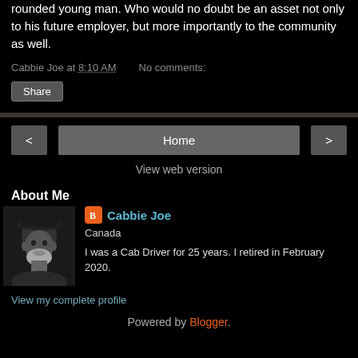rounded young man. Who would no doubt be an asset not only to his future employer, but more importantly to the community as well.
Cabbie Joe at 8:10 AM   No comments:
Share
< Home >
View web version
About Me
[Figure (photo): Black and white photo of a man wearing a hat with a beard]
Cabbie Joe
Canada
I was a Cab Driver for 25 years. I retired in February 2020.
View my complete profile
Powered by Blogger.